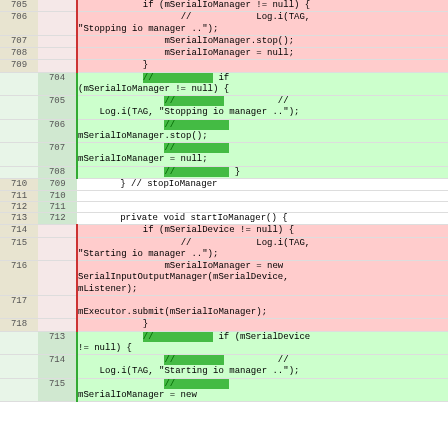[Figure (screenshot): A code diff view showing two versions of Java source code. The left column shows old line numbers (red/deleted lines), the right column shows new line numbers (green/added lines), and the right panel shows the code content. Deleted lines have pink background, added lines have green background with green highlighted rectangles over changed tokens. The diff covers lines around stopIoManager and startIoManager methods.]